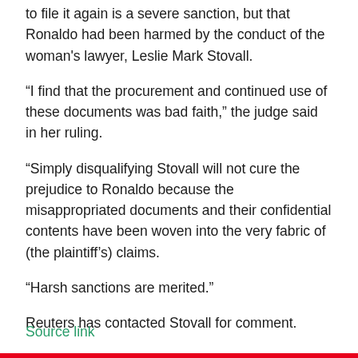to file it again is a severe sanction, but that Ronaldo had been harmed by the conduct of the woman's lawyer, Leslie Mark Stovall.
“I find that the procurement and continued use of these documents was bad faith,” the judge said in her ruling.
“Simply disqualifying Stovall will not cure the prejudice to Ronaldo because the misappropriated documents and their confidential contents have been woven into the very fabric of (the plaintiff’s) claims.
“Harsh sanctions are merited.”
Reuters has contacted Stovall for comment.
Source link